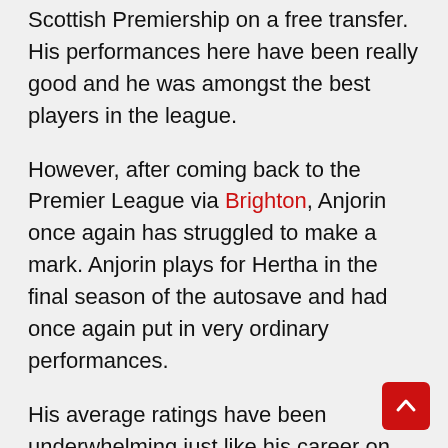Scottish Premiership on a free transfer. His performances here have been really good and he was amongst the best players in the league.
However, after coming back to the Premier League via Brighton, Anjorin once again has struggled to make a mark. Anjorin plays for Hertha in the final season of the autosave and had once again put in very ordinary performances.
His average ratings have been underwhelming just like his career on our save. However, his performances in the Scottish league could be a small glimpse of what he is actually capable of under the right circumstances.